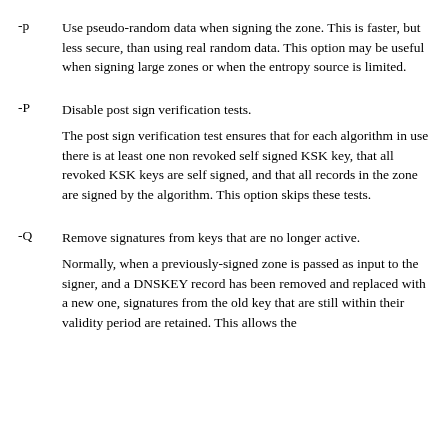-p

Use pseudo-random data when signing the zone. This is faster, but less secure, than using real random data. This option may be useful when signing large zones or when the entropy source is limited.
-P

Disable post sign verification tests.

The post sign verification test ensures that for each algorithm in use there is at least one non revoked self signed KSK key, that all revoked KSK keys are self signed, and that all records in the zone are signed by the algorithm. This option skips these tests.
-Q

Remove signatures from keys that are no longer active.

Normally, when a previously-signed zone is passed as input to the signer, and a DNSKEY record has been removed and replaced with a new one, signatures from the old key that are still within their validity period are retained. This allows the